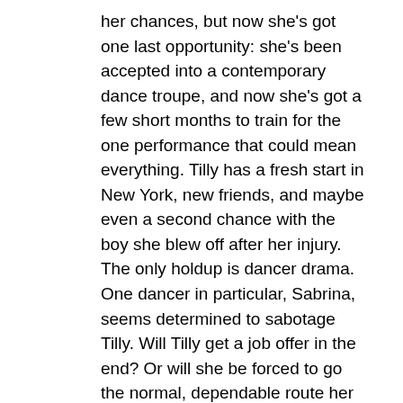her chances, but now she's got one last opportunity: she's been accepted into a contemporary dance troupe, and now she's got a few short months to train for the one performance that could mean everything. Tilly has a fresh start in New York, new friends, and maybe even a second chance with the boy she blew off after her injury. The only holdup is dancer drama. One dancer in particular, Sabrina, seems determined to sabotage Tilly. Will Tilly get a job offer in the end? Or will she be forced to go the normal, dependable route her mother wants for her, and go to college instead?
Nearly every teen and young adult–and even those who are just dreaming of the simpler days of their youth–will be able to see themselves in some facet of Tilly's character. Whether it's her determined nature, her creative methods of handling stress, her camaraderie with her friends and fellow dancers, or even the looming mistakes she's made regarding